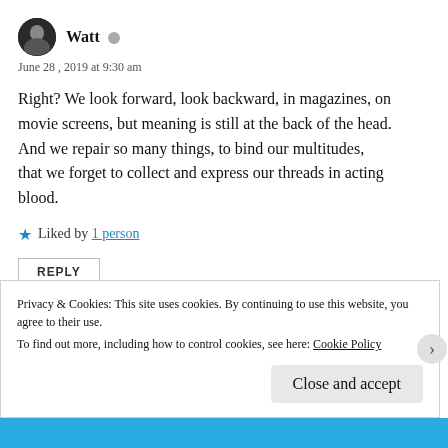[Figure (illustration): Circular avatar with a dark portrait photo of a person]
Watt
June 28, 2019 at 9:30 am
Right? We look forward, look backward, in magazines, on movie screens, but meaning is still at the back of the head. And we repair so many things, to bind our multitudes, that we forget to collect and express our threads in acting blood.
★ Liked by 1 person
REPLY
Privacy & Cookies: This site uses cookies. By continuing to use this website, you agree to their use.
To find out more, including how to control cookies, see here: Cookie Policy